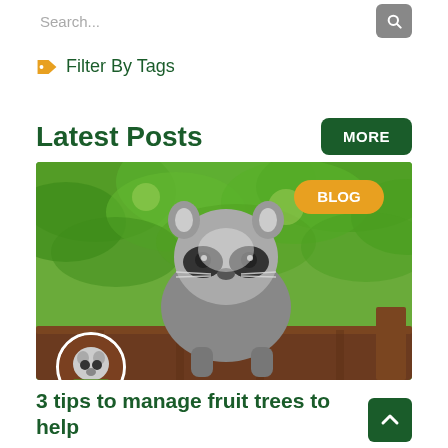Search...
Filter By Tags
Latest Posts
[Figure (photo): A raccoon standing on a wooden fence with green leafy trees in the background. A yellow 'BLOG' badge appears in the upper right of the image.]
3 tips to manage fruit trees to help